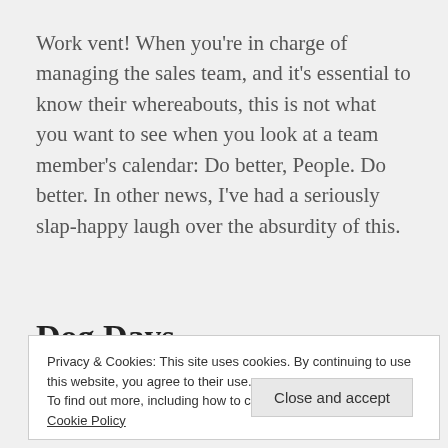Work vent! When you're in charge of managing the sales team, and it's essential to know their whereabouts, this is not what you want to see when you look at a team member's calendar: Do better, People. Do better. In other news, I've had a seriously slap-happy laugh over the absurdity of this.
Dog Days
Privacy & Cookies: This site uses cookies. By continuing to use this website, you agree to their use.
To find out more, including how to control cookies, see here: Cookie Policy